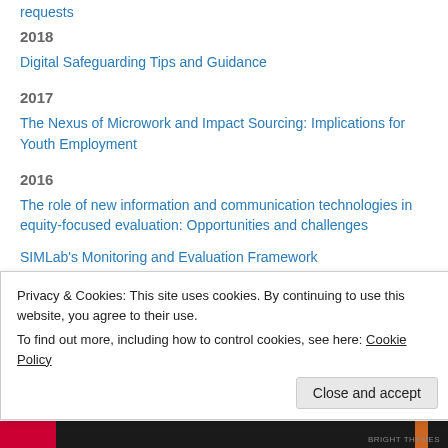requests
2018
Digital Safeguarding Tips and Guidance
2017
The Nexus of Microwork and Impact Sourcing: Implications for Youth Employment
2016
The role of new information and communication technologies in equity-focused evaluation: Opportunities and challenges
SIMLab's Monitoring and Evaluation Framework
Privacy & Cookies: This site uses cookies. By continuing to use this website, you agree to their use.
To find out more, including how to control cookies, see here: Cookie Policy
Close and accept